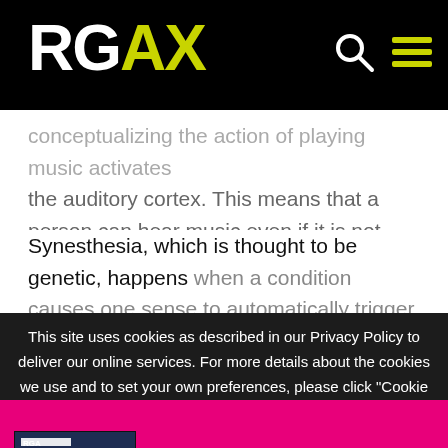RGAX
conceptualizing the action of playing music activates the auditory cortex. This means that a person can hear music even if it is not really playing!
Synesthesia, which is thought to be genetic, happens when a condition causes one sense to automatically trigger another sense.
This site uses cookies as described in our Privacy Policy to deliver our online services. For more details about the cookies we use and to set your own preferences, please click "Cookie Settings." By clicking
Discover 5 Strategies Transforming the Insurance Industry